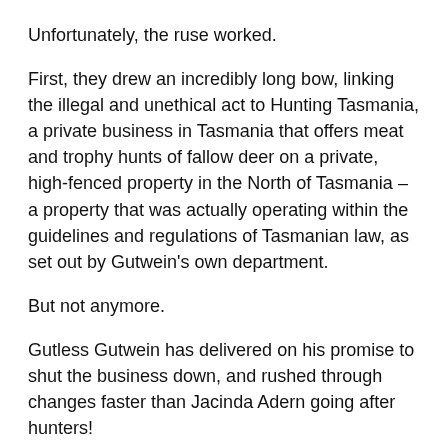Unfortunately, the ruse worked.
First, they drew an incredibly long bow, linking the illegal and unethical act to Hunting Tasmania, a private business in Tasmania that offers meat and trophy hunts of fallow deer on a private, high-fenced property in the North of Tasmania – a property that was actually operating within the guidelines and regulations of Tasmanian law, as set out by Gutwein's own department.
But not anymore.
Gutless Gutwein has delivered on his promise to shut the business down, and rushed through changes faster than Jacinda Adern going after hunters!
This afternoon, we received word that Deidre Wilson, General Manager, Corporate Services Division, DPIPWE has “reinterpreted” the laws to remove any loopholes that previously allowed farmed deer or feral animals to be taken with a bow.